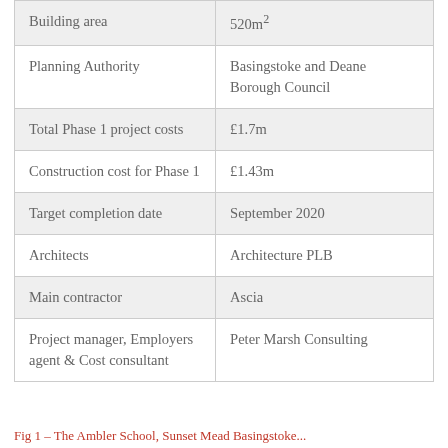| Building area | 520m² |
| Planning Authority | Basingstoke and Deane Borough Council |
| Total Phase 1 project costs | £1.7m |
| Construction cost for Phase 1 | £1.43m |
| Target completion date | September 2020 |
| Architects | Architecture PLB |
| Main contractor | Ascia |
| Project manager, Employers agent & Cost consultant | Peter Marsh Consulting |
Fig 1 – The Ambler School, Sunset Mead Basingstoke...